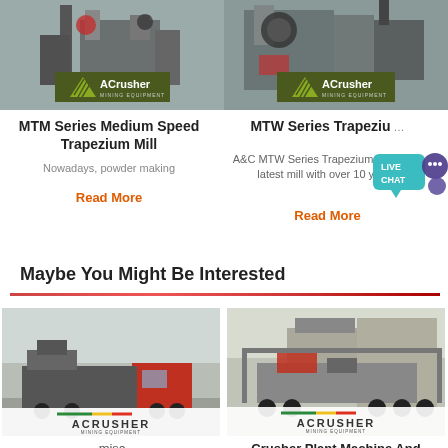[Figure (photo): MTM Series mining mill equipment photo with ACrusher Mining Equipment logo badge]
[Figure (photo): MTW Series mining mill equipment photo with ACrusher Mining Equipment logo badge]
MTM Series Medium Speed Trapezium Mill
MTW Series Trapezium Mill
Nowadays, powder making
A&C MTW Series Trapezium Mill is the latest mill with over 10 years'
Read More
Read More
Maybe You Might Be Interested
[Figure (photo): misc - mobile crusher plant on truck, ACrusher Mining Equipment logo at bottom]
[Figure (photo): Crusher Plant Machine And - mobile crushing plant, ACrusher Mining Equipment logo at bottom]
misc
Crusher Plant Machine And